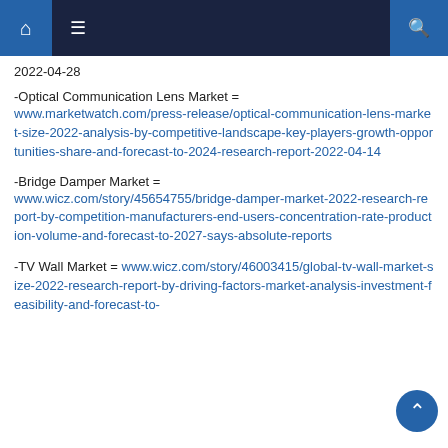Navigation bar with home, menu, and search icons
2022-04-28
-Optical Communication Lens Market = www.marketwatch.com/press-release/optical-communication-lens-market-size-2022-analysis-by-competitive-landscape-key-players-growth-opportunities-share-and-forecast-to-2024-research-report-2022-04-14
-Bridge Damper Market = www.wicz.com/story/45654755/bridge-damper-market-2022-research-report-by-competition-manufacturers-end-users-concentration-rate-production-volume-and-forecast-to-2027-says-absolute-reports
-TV Wall Market = www.wicz.com/story/46003415/global-tv-wall-market-size-2022-research-report-by-driving-factors-market-analysis-investment-feasibility-and-forecast-to-